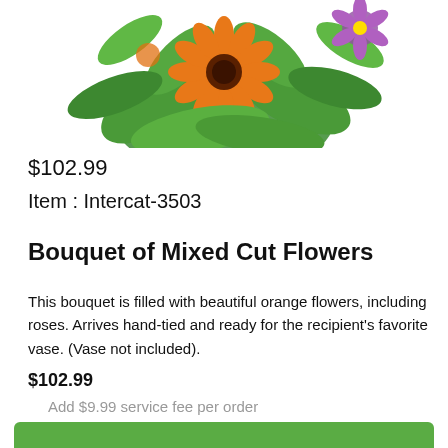[Figure (photo): Bouquet of mixed orange flowers including gerbera daisies and roses with green leaves, photographed against white background, cropped at top]
$102.99
Item : Intercat-3503
Bouquet of Mixed Cut Flowers
This bouquet is filled with beautiful orange flowers, including roses. Arrives hand-tied and ready for the recipient's favorite vase. (Vase not included).
$102.99
Add $9.99 service fee per order